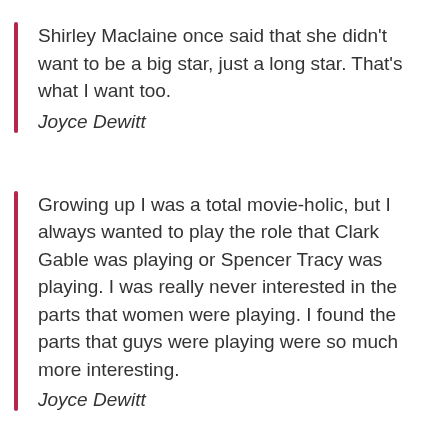Shirley Maclaine once said that she didn’t want to be a big star, just a long star. That’s what I want too.
Joyce Dewitt
Growing up I was a total movie-holic, but I always wanted to play the role that Clark Gable was playing or Spencer Tracy was playing. I was really never interested in the parts that women were playing. I found the parts that guys were playing were so much more interesting.
Joyce Dewitt